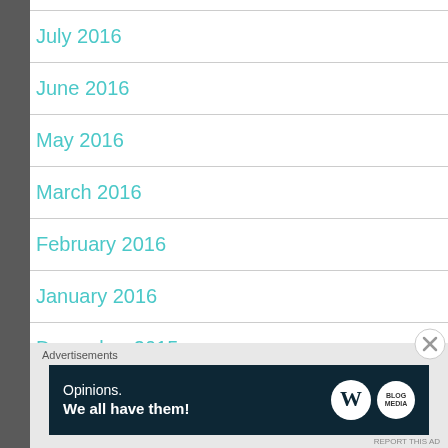July 2016
June 2016
May 2016
March 2016
February 2016
January 2016
December 2015
Advertisements
[Figure (infographic): WordPress advertisement banner: 'Opinions. We all have them!' with WordPress and WooCommerce logos on dark navy background]